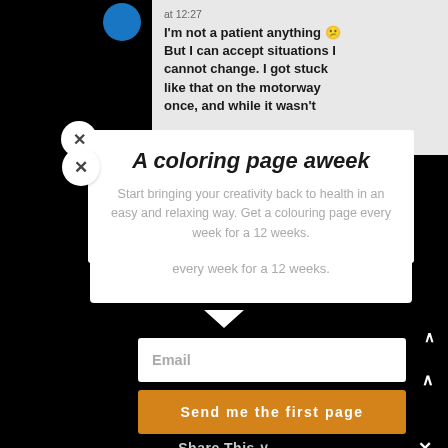at 12:27
I'm not a patient anything 😵 But I can accept situations I cannot change. I got stuck like that on the motorway once, and while it wasn't
[Figure (screenshot): Blue circular avatar icon]
A coloring page aweek
Start bringing your creativity back to health in an easy and relaxing way. Get a colouring page every week for a 12 weeks.
Email
Send me the first page
Share This ∨
✕